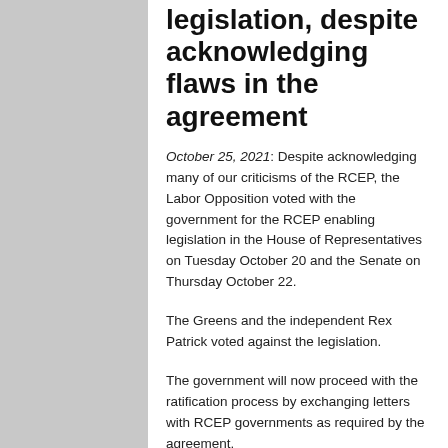legislation, despite acknowledging flaws in the agreement
October 25, 2021: Despite acknowledging many of our criticisms of the RCEP, the Labor Opposition voted with the government for the RCEP enabling legislation in the House of Representatives on Tuesday October 20 and the Senate on Thursday October 22.
The Greens and the independent Rex Patrick voted against the legislation.
The government will now proceed with the ratification process by exchanging letters with RCEP governments as required by the agreement.